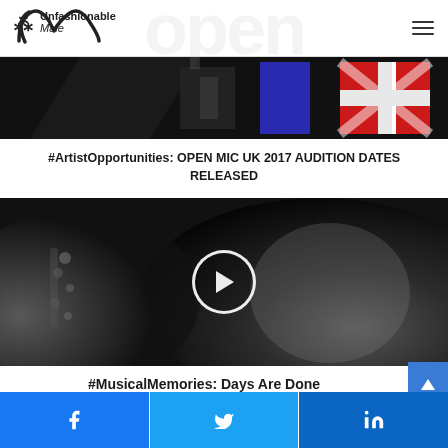Unfashionable Male
[Figure (photo): Open Mic UK banner image with black and white geometric shapes and a Union Jack flag element]
#ArtistOpportunities: OPEN MIC UK 2017 AUDITION DATES RELEASED
[Figure (photo): Black and white photograph of a bearded man looking upward with a play button overlay, suggesting a video thumbnail]
#MusicalMemories: Days Are Done
[Figure (other): Social share bar with Facebook, Twitter, and LinkedIn buttons]